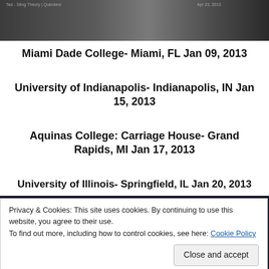[Figure (photo): Screenshot of a video or webpage related to Sting Theory, with a dark background and interface elements visible]
Miami Dade College- Miami, FL Jan 09, 2013
University of Indianapolis- Indianapolis, IN Jan 15, 2013
Aquinas College: Carriage House- Grand Rapids, MI Jan 17, 2013
University of Illinois- Springfield, IL Jan 20, 2013
[Figure (photo): Dark image of a performance or event, partially visible behind cookie consent overlay]
Privacy & Cookies: This site uses cookies. By continuing to use this website, you agree to their use.
To find out more, including how to control cookies, see here: Cookie Policy